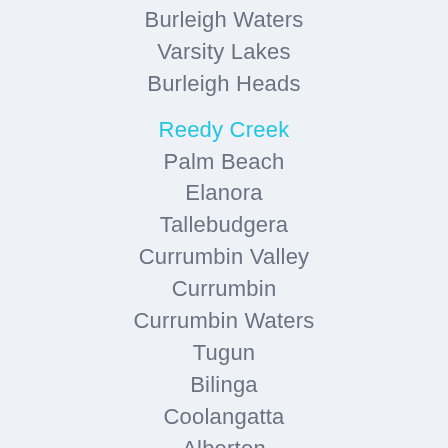Burleigh Waters
Varsity Lakes
Burleigh Heads
Reedy Creek
Palm Beach
Elanora
Tallebudgera
Currumbin Valley
Currumbin
Currumbin Waters
Tugun
Bilinga
Coolangatta
Alberton
Stapylton
Yatala